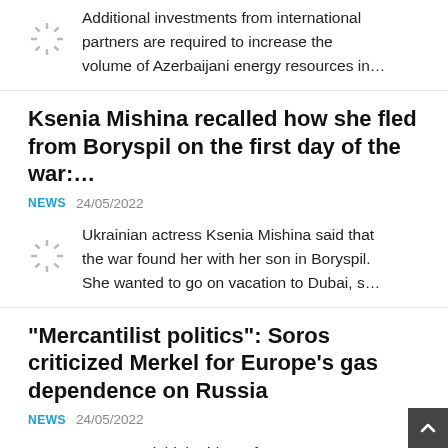Additional investments from international partners are required to increase the volume of Azerbaijani energy resources in…
Ksenia Mishina recalled how she fled from Boryspil on the first day of the war:…
NEWS  24/05/2022
Ukrainian actress Ksenia Mishina said that the war found her with her son in Boryspil. She wanted to go on vacation to Dubai, s…
"Mercantilist politics": Soros criticized Merkel for Europe's gas dependence on Russia
NEWS  24/05/2022
Soros laid the blame for Europe's